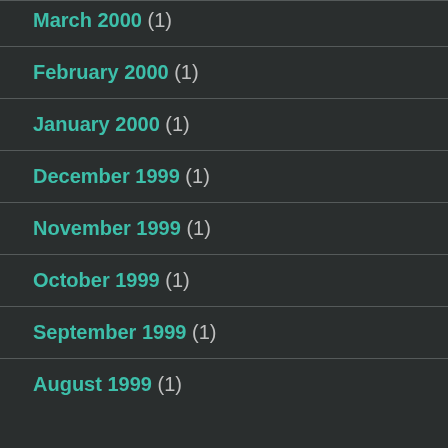March 2000 (1)
February 2000 (1)
January 2000 (1)
December 1999 (1)
November 1999 (1)
October 1999 (1)
September 1999 (1)
August 1999 (1)